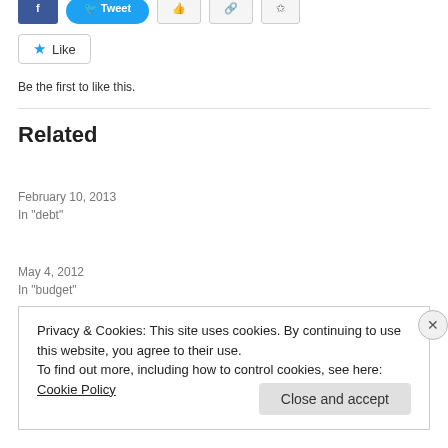[Figure (screenshot): Top social share buttons: blue rectangle button, blue rounded button, outline buttons]
[Figure (screenshot): Like button with blue star icon and text 'Like']
Be the first to like this.
Related
Will You Help Revolutionise Economics?
February 10, 2013
In "debt"
P.S. I Just Had To Do This
May 4, 2012
In "budget"
Privacy & Cookies: This site uses cookies. By continuing to use this website, you agree to their use.
To find out more, including how to control cookies, see here: Cookie Policy